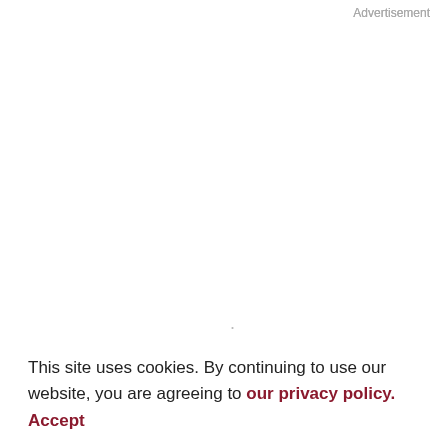Advertisement
tumors (15).
Children with FAP are at risk of developing hepatoblastoma (0.3%–1.6%), with most cases occurring before the age of 3 years (16, 17). Notably, up to 10% of patients with hepatoblastoma have an underlying APC mutation and may not have a family history of FAP (16). Similar to desmoid tumors, molecular testing for somatic
This site uses cookies. By continuing to use our website, you are agreeing to our privacy policy. Accept